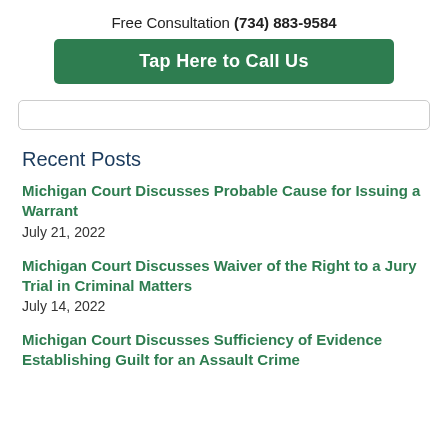Free Consultation (734) 883-9584
Tap Here to Call Us
Recent Posts
Michigan Court Discusses Probable Cause for Issuing a Warrant
July 21, 2022
Michigan Court Discusses Waiver of the Right to a Jury Trial in Criminal Matters
July 14, 2022
Michigan Court Discusses Sufficiency of Evidence Establishing Guilt for an Assault Crime